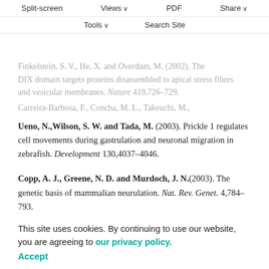Split-screen | Views | PDF | Share | Tools | Search Site
Finkelstein, S. V., He, X. and Overdam, M. (2002). The DIX domain targets proteins disassembled to apical stress fibres and vesicular membranes. Nature 419,726-729.
Carreira-Barbosa, F., Concha, M. L., Takeuchi, M., Ueno, N., Wilson, S. W. and Tada, M. (2003). Prickle 1 regulates cell movements during gastrulation and neuronal migration in zebrafish. Development 130,4037-4046.
Copp, A. J., Greene, N. D. and Murdoch, J. N.(2003). The genetic basis of mammalian neurulation. Nat. Rev. Genet. 4,784-793.
Curtin, J. A., Quint, E., Tsipouri, V., Arkell, R. M., Cattanach, B., Copp, A. J., Henderson, D. J., Spurr, N., Stanier, P., Fisher, E. M. et al. (2003). Mutation of Celsr1 disrupts planar polarity of inner ear hair cells and causes severe neural tube defects in the mouse. Curr. Biol. 1129-1133.
This site uses cookies. By continuing to use our website, you are agreeing to our privacy policy. Accept